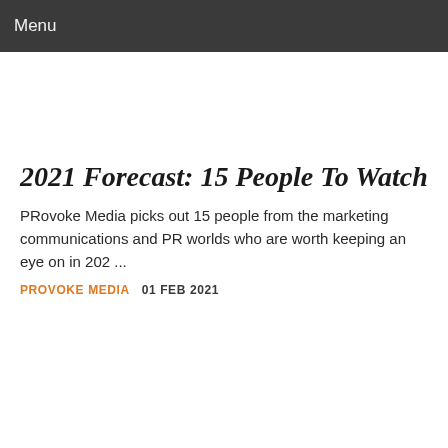Menu
2021 Forecast: 15 People To Watch
PRovoke Media picks out 15 people from the marketing communications and PR worlds who are worth keeping an eye on in 202 ...
PROVOKE MEDIA  01 FEB 2021